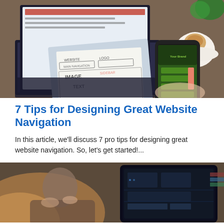[Figure (photo): Top-down view of a desk with a laptop, tablet, wireframe sketches on paper, a hand holding a smartphone showing a mobile website mockup, and a cup of coffee with a saucer.]
7 Tips for Designing Great Website Navigation
In this article, we'll discuss 7 pro tips for designing great website navigation. So, let's get started!...
[Figure (photo): Person sitting at a table looking at a tablet displaying a dark-themed digital interface or dashboard.]